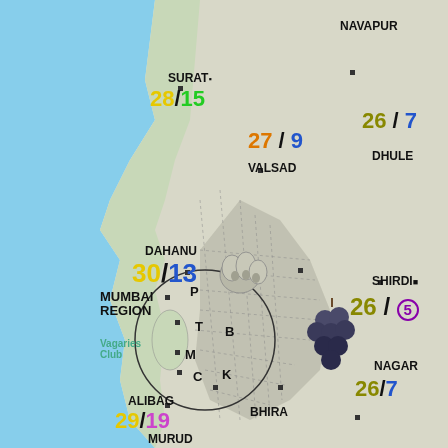[Figure (map): Weather map of Maharashtra and Gujarat coast showing city names with max/min temperatures. Features sea (blue) on the west, land regions with hatching patterns, city markers, and weather icons (garlic/grapes). Cities shown: Surat, Valsad, Navapur, Dhule, Dahanu, Nashik, Shirdi, Mumbai Region, Alibag, Bhira, Pune, Nagar, Murud. Temperatures shown in yellow/olive for max and blue/green/purple for min.]
SURAT 28/15
27 / 9
VALSAD
NAVAPUR
26 / 7
DHULE
DAHANU 30/13
26 / 5
NASHIK
SHIRDI
26 / 5
MUMBAI REGION
Vagaries Club
P T B M C K
27 / 8
PUNE
NAGAR
26/7
ALIBAG 29/19
BHIRA
MURUD